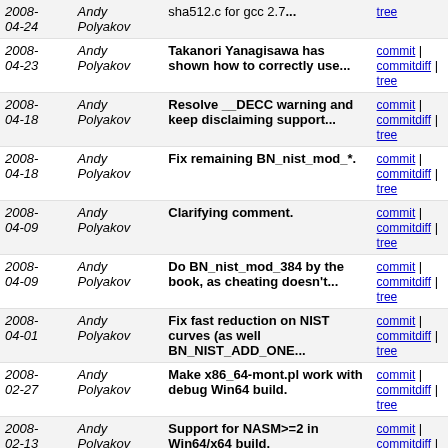| Date | Author | Message | Links |
| --- | --- | --- | --- |
| 2008-04-24 | Andy Polyakov | sha512.c for gcc 2.7... | commit | commitdiff | tree |
| 2008-04-23 | Andy Polyakov | Takanori Yanagisawa has shown how to correctly use... | commit | commitdiff | tree |
| 2008-04-18 | Andy Polyakov | Resolve __DECC warning and keep disclaiming support... | commit | commitdiff | tree |
| 2008-04-18 | Andy Polyakov | Fix remaining BN_nist_mod_*. | commit | commitdiff | tree |
| 2008-04-09 | Andy Polyakov | Clarifying comment. | commit | commitdiff | tree |
| 2008-04-09 | Andy Polyakov | Do BN_nist_mod_384 by the book, as cheating doesn't... | commit | commitdiff | tree |
| 2008-04-01 | Andy Polyakov | Fix fast reduction on NIST curves (as well BN_NIST_ADD_ONE... | commit | commitdiff | tree |
| 2008-02-27 | Andy Polyakov | Make x86_64-mont.pl work with debug Win64 build. | commit | commitdiff | tree |
| 2008-02-13 | Andy Polyakov | Support for NASM>=2 in Win64/x64 build. | commit | commitdiff | tree |
| 2008-02-11 | Andy Polyakov | Ad-hockery for Platform SDK ml64. | commit | commitdiff | tree |
| 2008-02-06 | Andy Polyakov | Micro-profiling assisted "optimization" for Power6... | commit | commitdiff | tree |
| 2008-02-05 | Andy Polyakov | ppc64-mont optimization. | commit | commitdiff | tree |
| 2008-01-17 | Andy Polyakov | rc5/asm/rc5-586.pl was erroneously omitted from last... | commit | commitdiff | tree |
| 2008-01-15 | Andy Polyakov | crypto/rc5/Makefile was erroneously omitted from last... | commit | commitdiff | tree |